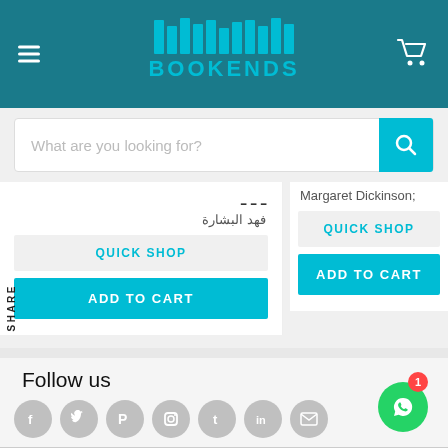BOOKENDS
What are you looking for?
فهد البشارة
QUICK SHOP
ADD TO CART
Margaret Dickinson;
QUICK SHOP
ADD TO CART
SHARE
Follow us